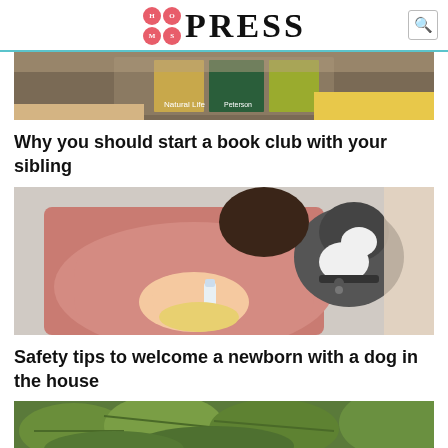Hot Mess Press
[Figure (photo): Partial image of books being held, cropped at top]
Why you should start a book club with your sibling
[Figure (photo): Woman in pink hoodie bottle-feeding a newborn while a black and white dog looks on]
Safety tips to welcome a newborn with a dog in the house
[Figure (photo): Green leafy plants, partially visible at bottom]